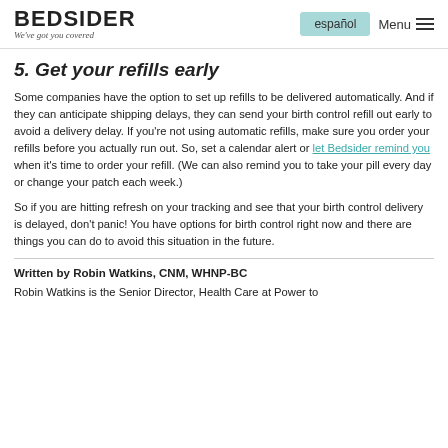BEDSIDER We've got you covered | español | Menu
5. Get your refills early
Some companies have the option to set up refills to be delivered automatically. And if they can anticipate shipping delays, they can send your birth control refill out early to avoid a delivery delay. If you're not using automatic refills, make sure you order your refills before you actually run out. So, set a calendar alert or let Bedsider remind you when it's time to order your refill. (We can also remind you to take your pill every day or change your patch each week.)
So if you are hitting refresh on your tracking and see that your birth control delivery is delayed, don't panic! You have options for birth control right now and there are things you can do to avoid this situation in the future.
Written by Robin Watkins, CNM, WHNP-BC
Robin Watkins is the Senior Director, Health Care at Power to